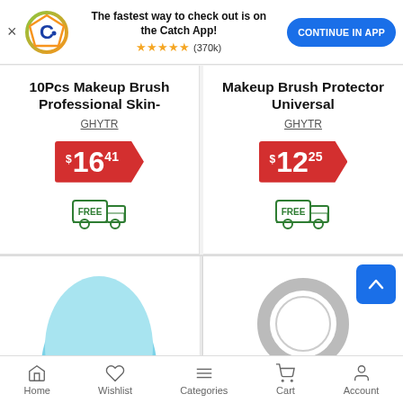[Figure (screenshot): App banner with Catch logo, text 'The fastest way to check out is on the Catch App!', star rating (370k), and 'CONTINUE IN APP' button]
10Pcs Makeup Brush Professional Skin-
GHYTR
$16.41
[Figure (illustration): Free shipping truck icon with FREE label]
Makeup Brush Protector Universal
GHYTR
$12.25
[Figure (illustration): Free shipping truck icon with FREE label]
[Figure (photo): Light blue makeup brush sponge/brush head, partially visible]
[Figure (photo): Round circular makeup brush guard/protector, grey ring visible]
Home   Wishlist   Categories   Cart   Account